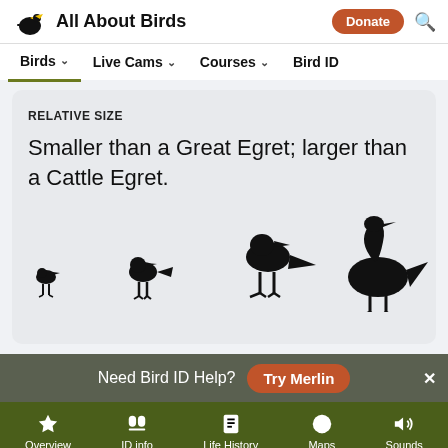All About Birds | Birds | Live Cams | Courses | Bird ID
RELATIVE SIZE
Smaller than a Great Egret; larger than a Cattle Egret.
[Figure (illustration): Silhouettes of four birds of increasing size from left to right, showing relative size comparison]
Need Bird ID Help? Try Merlin
Overview | ID info | Life History | Maps | Sounds